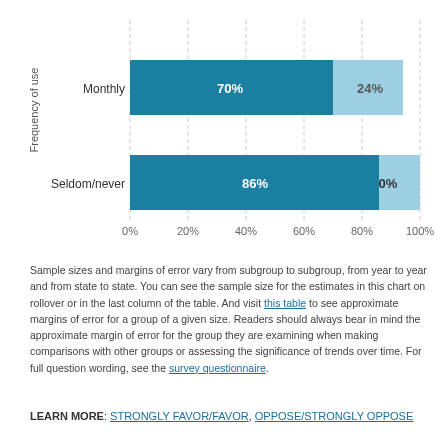[Figure (stacked-bar-chart): Frequency of use]
Sample sizes and margins of error vary from subgroup to subgroup, from year to year and from state to state. You can see the sample size for the estimates in this chart on rollover or in the last column of the table. And visit this table to see approximate margins of error for a group of a given size. Readers should always bear in mind the approximate margin of error for the group they are examining when making comparisons with other groups or assessing the significance of trends over time. For full question wording, see the survey questionnaire.
LEARN MORE: STRONGLY FAVOR/FAVOR, OPPOSE/STRONGLY OPPOSE